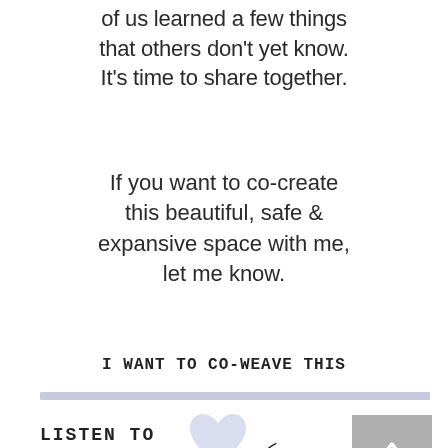of us learned a few things that others don't yet know. It's time to share together.
If you want to co-create this beautiful, safe & expansive space with me, let me know.
I WANT TO CO-WEAVE THIS
[Figure (other): Horizontal light purple/lavender divider bar]
[Figure (other): Gray square scroll-to-top button with upward chevron arrow]
[Figure (other): Light blue/lavender heart icon]
LISTEN TO YOUR.